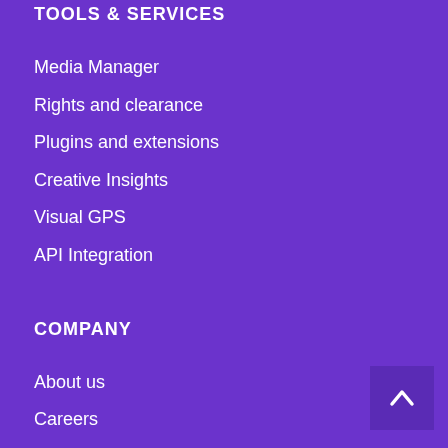TOOLS & SERVICES
Media Manager
Rights and clearance
Plugins and extensions
Creative Insights
Visual GPS
API Integration
COMPANY
About us
Careers
Apply to be a contributor
Press room